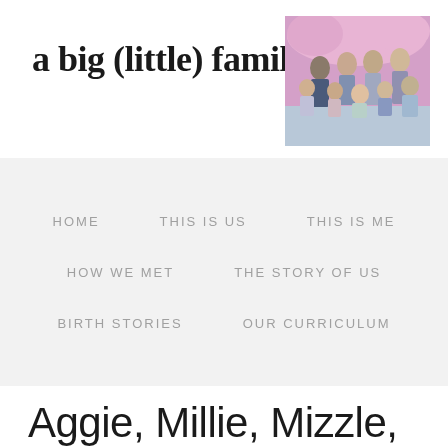a big (little) family
[Figure (photo): Family portrait photo showing multiple family members (adults and children) posed together outdoors with pink flowering trees in the background]
HOME   THIS IS US   THIS IS ME   HOW WE MET   THE STORY OF US   BIRTH STORIES   OUR CURRICULUM
Aggie, Millie, Mizzle, and the